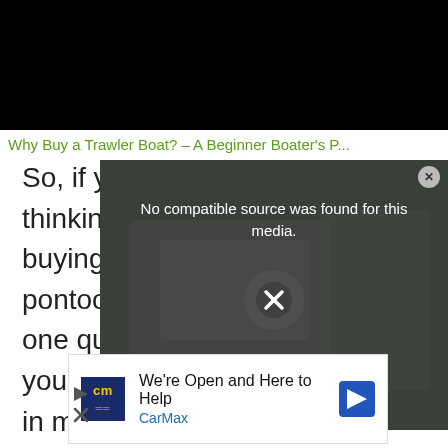[Figure (screenshot): Black video player rectangle at top of page]
Why Buy a Trawler Boat? – A Beginner Boater's P...
So, if you're thinking of buying a pontoon boat, one question you may have in mind is which type of motor pontoon boats will typically have.
[Figure (screenshot): Video overlay popup with dark semi-transparent background showing 'No compatible source was found for this media.' message and X close button, overlaid on a blurred image of a boat]
[Figure (screenshot): Advertisement for CarMax showing logo with 'cm' text, headline 'We're Open and Here to Help', CarMax brand name, and a blue arrow navigation icon]